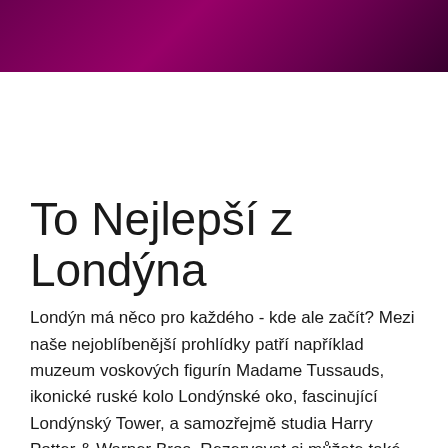[Figure (other): Dark magenta/purple gradient header banner]
To Nejlepší z Londýna
Londýn má něco pro každého - kde ale začít? Mezi naše nejoblíbenější prohlídky patří například muzeum voskových figurín Madame Tussauds, ikonické ruské kolo Londýnské oko, fascinující Londýnský Tower, a samozřejmě studia Harry Potter & Warner Bros. Rezervovat si můžete také další prohlídky muzeí, památek a dopravu. Rezervujte si vstupenky pro ty nejlepší londýnské atrakce přímo tady, přeci o to nepřijdete!
What do you absolutely need to see during your time in the British capital? We have a few ideas for the most popular places to visit...